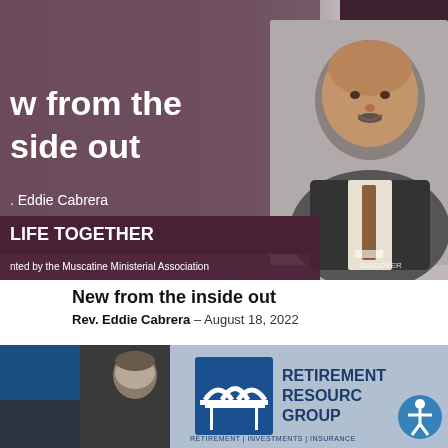[Figure (illustration): Banner image showing a man in a suit (Rev. Eddie Cabrera) on the right side against a gray background, with a dark purple/mauve overlay on the left displaying text 'w from the side out', 'Eddie Cabrera', 'LIFE TOGETHER', 'nted by the Muscatine Ministerial Association'. A dark purple square accent is visible top-right. DISCOVER logo bottom-right corner.]
New from the inside out
Rev. Eddie Cabrera – August 18, 2022
[Figure (illustration): Bottom banner showing a man's headshot on the left against a dark blue/charcoal background, and on the right the Retirement Resource Group logo (bridge icon in blue square with white bridge arches) with text 'RETIREMENT RESOURCE GROUP' and bottom text 'RETIREMENT | INVESTMENTS | INSURANCE'. An accessibility icon (person in circle) is visible at far right.]